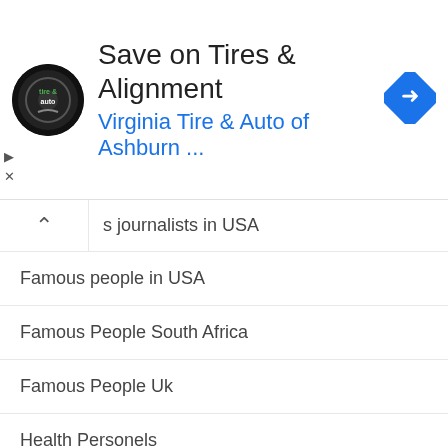[Figure (screenshot): Advertisement banner for Virginia Tire & Auto of Ashburn with logo, heading 'Save on Tires & Alignment', subtitle 'Virginia Tire & Auto of Ashburn ...', and a blue diamond navigation arrow icon on the right. Small play and X icons on the left.]
s journalists in USA
Famous people in USA
Famous People South Africa
Famous People Uk
Health Personels
JOURNALISTS | ANCHORS
Journalists in USA
REALITY TV STARS
TRENDING